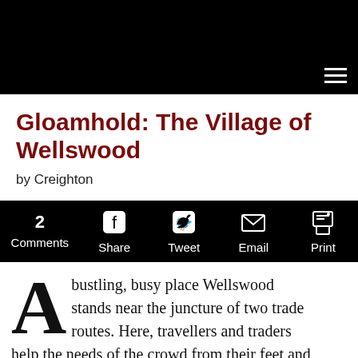Gloamhold: The Village of Wellswood
by Creighton
2 Comments  Share  Tweet  Email  Print
A bustling, busy place Wellswood stands near the juncture of two trade routes. Here, travellers and traders help the needs of the crowd from their feet and